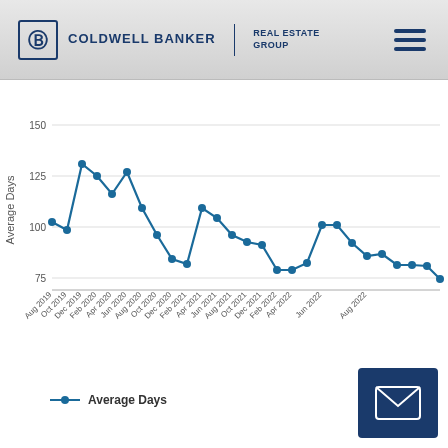[Figure (logo): Coldwell Banker Real Estate Group logo with hamburger menu icon]
[Figure (line-chart): Average Days]
Average Days